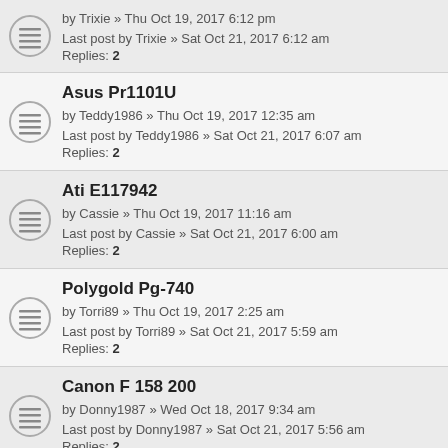by Trixie » Thu Oct 19, 2017 6:12 pm
Last post by Trixie » Sat Oct 21, 2017 6:12 am
Replies: 2
Asus Pr1101U
by Teddy1986 » Thu Oct 19, 2017 12:35 am
Last post by Teddy1986 » Sat Oct 21, 2017 6:07 am
Replies: 2
Ati E117942
by Cassie » Thu Oct 19, 2017 11:16 am
Last post by Cassie » Sat Oct 21, 2017 6:00 am
Replies: 2
Polygold Pg-740
by Torri89 » Thu Oct 19, 2017 2:25 am
Last post by Torri89 » Sat Oct 21, 2017 5:59 am
Replies: 2
Canon F 158 200
by Donny1987 » Wed Oct 18, 2017 9:34 am
Last post by Donny1987 » Sat Oct 21, 2017 5:56 am
Replies: 2
Wep Lq Dsi 5235 Printer For Windows 10 64 Bit
by Larry1991 » Thu Oct 19, 2017 9:07 am